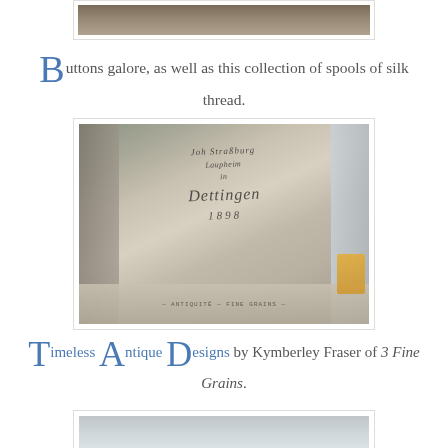[Figure (photo): Top portion of a photo, partially cropped at top of page]
Buttons galore, as well as this collection of spools of silk thread.
[Figure (photo): Stack of antique linen grain sacks with old German script lettering, including text reading 'Joh Straßburg', 'Laupheim', 'Dettingen', '1898' or similar date]
Timeless Antique Designs by Kymberley Fraser of 3 Fine Grains.
[Figure (photo): Bottom portion of another photo, partially visible at bottom of page]